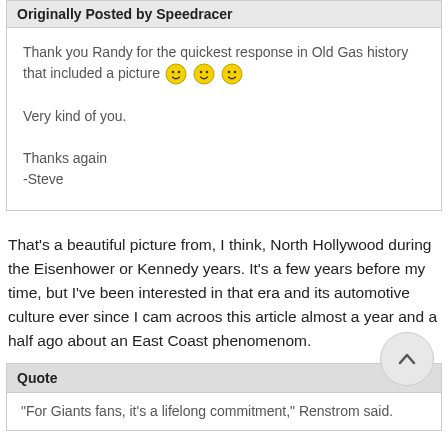Originally Posted by Speedracer
Thank you Randy for the quickest response in Old Gas history that included a picture 😊😊😊

Very kind of you.

Thanks again
-Steve
That's a beautiful picture from, I think, North Hollywood during the Eisenhower or Kennedy years. It's a few years before my time, but I've been interested in that era and its automotive culture ever since I cam acroos this article almost a year and a half ago about an East Coast phenomenom.
Quote
"For Giants fans, it's a lifelong commitment," Renstrom said.